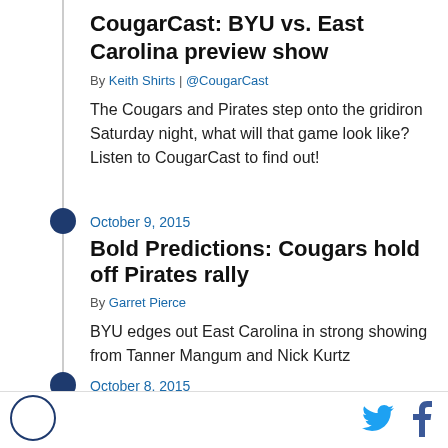CougarCast: BYU vs. East Carolina preview show
By Keith Shirts | @CougarCast
The Cougars and Pirates step onto the gridiron Saturday night, what will that game look like? Listen to CougarCast to find out!
October 9, 2015
Bold Predictions: Cougars hold off Pirates rally
By Garret Pierce
BYU edges out East Carolina in strong showing from Tanner Mangum and Nick Kurtz
October 8, 2015